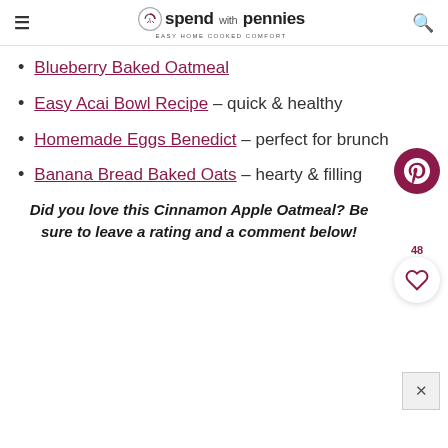spend with pennies — Easy Home Cooked Comfort
Blueberry Baked Oatmeal
Easy Acai Bowl Recipe – quick & healthy
Homemade Eggs Benedict – perfect for brunch
Banana Bread Baked Oats – hearty & filling
Did you love this Cinnamon Apple Oatmeal? Be sure to leave a rating and a comment below!